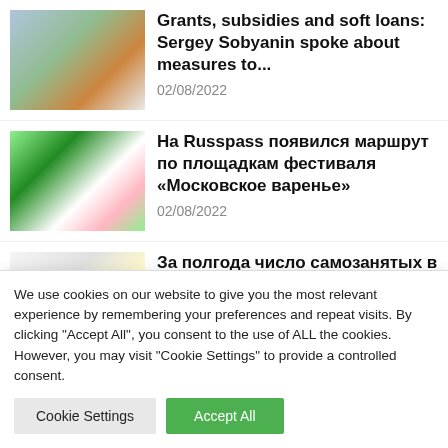[Figure (photo): People walking outdoors near a red brick building]
Grants, subsidies and soft loans: Sergey Sobyanin spoke about measures to...
02/08/2022
[Figure (photo): Festival signage with colorful plants]
На Russpass появился маршрут по площадкам фестиваля «Московское варенье»
02/08/2022
[Figure (photo): Partial image, appears to show hands or documents]
За полгода число самозанятых в Москве выросло на 185 тысяч
We use cookies on our website to give you the most relevant experience by remembering your preferences and repeat visits. By clicking "Accept All", you consent to the use of ALL the cookies. However, you may visit "Cookie Settings" to provide a controlled consent.